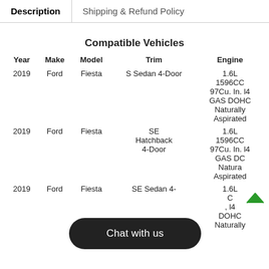Description | Shipping & Refund Policy
Compatible Vehicles
| Year | Make | Model | Trim | Engine |
| --- | --- | --- | --- | --- |
| 2019 | Ford | Fiesta | S Sedan 4-Door | 1.6L 1596CC 97Cu. In. l4 GAS DOHC Naturally Aspirated |
| 2019 | Ford | Fiesta | SE Hatchback 4-Door | 1.6L 1596CC 97Cu. In. l4 GAS DC Naturally Aspirated |
| 2019 | Ford | Fiesta | SE Sedan 4-... | 1.6L ...CC ..., l4 ...DOHC Naturally Aspirated |